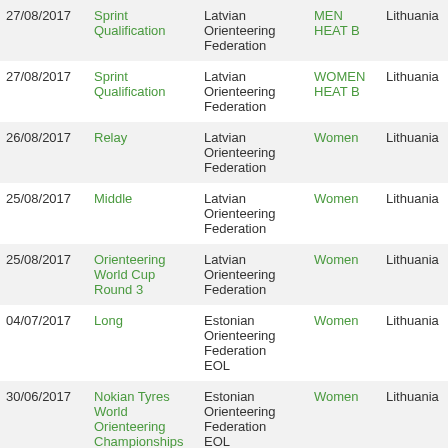| Date | Event | Organisation | Class | Country | Num |
| --- | --- | --- | --- | --- | --- |
| 27/08/2017 | Sprint Qualification | Latvian Orienteering Federation | MEN HEAT B | Lithuania |  |
| 27/08/2017 | Sprint Qualification | Latvian Orienteering Federation | WOMEN HEAT B | Lithuania | 27 |
| 26/08/2017 | Relay | Latvian Orienteering Federation | Women | Lithuania | 21 17 |
| 25/08/2017 | Middle | Latvian Orienteering Federation | Women | Lithuania | 64 |
| 25/08/2017 | Orienteering World Cup Round 3 | Latvian Orienteering Federation | Women | Lithuania |  |
| 04/07/2017 | Long | Estonian Orienteering Federation EOL | Women | Lithuania | 33 |
| 30/06/2017 | Nokian Tyres World Orienteering Championships 2017 and World Cup Round 2 | Estonian Orienteering Federation EOL Ilves OK OK Polva Kobras OK Voru | Women | Lithuania |  |
| 13/06/2017 | Long | Finnish Orienteering | Women | LTU | 10 |